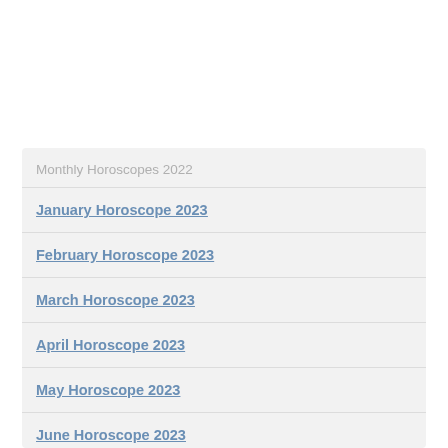Monthly Horoscopes 2022
January Horoscope 2023
February Horoscope 2023
March Horoscope 2023
April Horoscope 2023
May Horoscope 2023
June Horoscope 2023
July Horoscope 2023
August Horoscope 2022